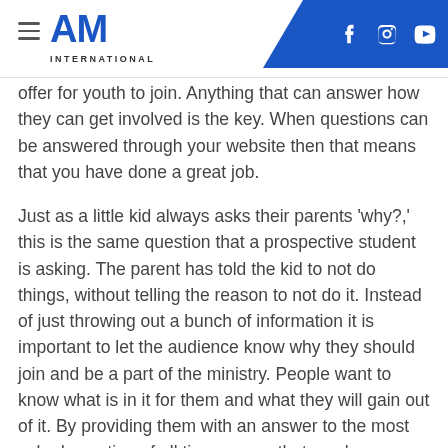AM INTERNATIONAL
offer for youth to join. Anything that can answer how they can get involved is the key. When questions can be answered through your website then that means that you have done a great job.
Just as a little kid always asks their parents 'why?,' this is the same question that a prospective student is asking. The parent has told the kid to not do things, without telling the reason to not do it. Instead of just throwing out a bunch of information it is important to let the audience know why they should join and be a part of the ministry. People want to know what is in it for them and what they will gain out of it. By providing them with an answer to the most asked question of all time means that you have successfully mastered the technique to evangelism well, at least for the time being.